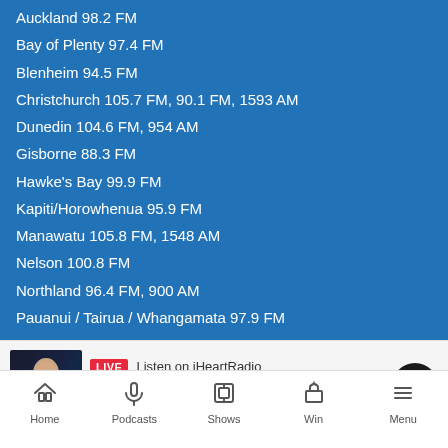Auckland 98.2 FM
Bay of Plenty 97.4 FM
Blenheim 94.5 FM
Christchurch 105.7 FM, 90.1 FM, 1593 AM
Dunedin 104.6 FM, 954 AM
Gisborne 88.3 FM
Hawke's Bay 99.9 FM
Kapiti/Horowhenua 95.9 FM
Manawatu 105.8 FM, 1548 AM
Nelson 100.8 FM
Northland 96.4 FM, 900 AM
Pauanui / Tairua / Whangamata 97.9 FM
Rotorua 96.7 FM
Russell 89.6 FM
Southland 92.4 FM
LIVE  Listen on iHeartRadio
WHITNEY HOUSTON - I WILL ALWAYS LOVE YOU
Home  Podcasts  Shows  Win  Menu